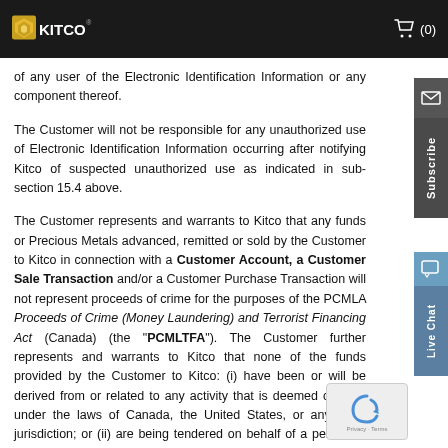KITCO (0)
of any user of the Electronic Identification Information or any component thereof.
The Customer will not be responsible for any unauthorized use of Electronic Identification Information occurring after notifying Kitco of suspected unauthorized use as indicated in sub-section 15.4 above.
The Customer represents and warrants to Kitco that any funds or Precious Metals advanced, remitted or sold by the Customer to Kitco in connection with a Customer Account, a Customer Sale Transaction and/or a Customer Purchase Transaction will not represent proceeds of crime for the purposes of the PCMLA Proceeds of Crime (Money Laundering) and Terrorist Financing Act (Canada) (the "PCMLTFA"). The Customer further represents and warrants to Kitco that none of the funds provided by the Customer to Kitco: (i) have been or will be derived from or related to any activity that is deemed criminal under the laws of Canada, the United States, or any other jurisdiction; or (ii) are being tendered on behalf of a person or entity other than the Customer, and the Subscriber will promptly notify Kitco if the Customer discovers that any such representations cease to be true and provide Kitco with all relevant information in connection therewith;